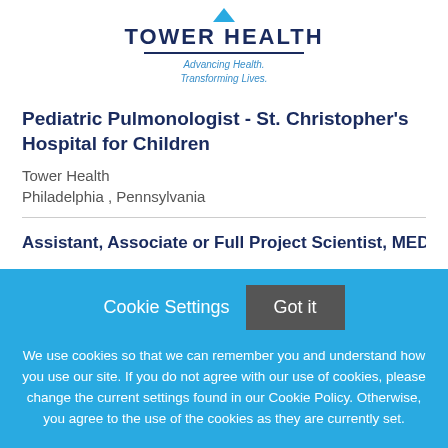[Figure (logo): Tower Health logo with blue chevron, bold dark blue text 'TOWER HEALTH', horizontal rule, and blue italic tagline 'Advancing Health. Transforming Lives.']
Pediatric Pulmonologist - St. Christopher's Hospital for Children
Tower Health
Philadelphia , Pennsylvania
Assistant, Associate or Full Project Scientist, MED
Cookie Settings
Got it
We use cookies so that we can remember you and understand how you use our site. If you do not agree with our use of cookies, please change the current settings found in our Cookie Policy. Otherwise, you agree to the use of the cookies as they are currently set.